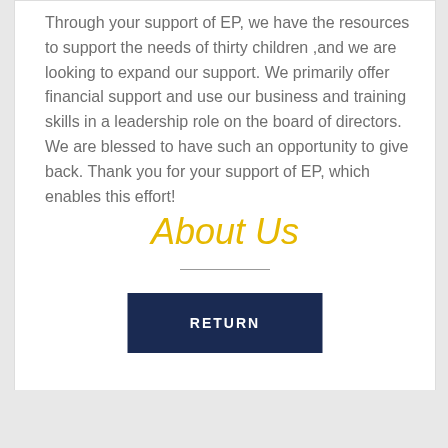Through your support of EP, we have the resources to support the needs of thirty children ,and we are looking to expand our support. We primarily offer financial support and use our business and training skills in a leadership role on the board of directors. We are blessed to have such an opportunity to give back. Thank you for your support of EP, which enables this effort!
About Us
RETURN